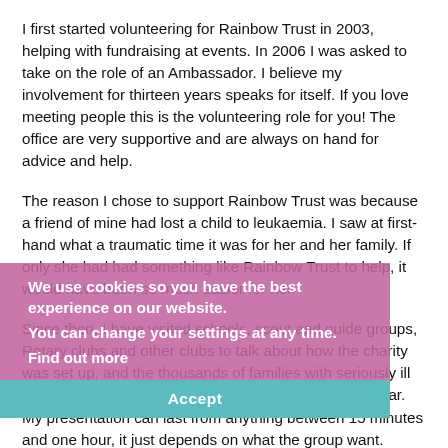I first started volunteering for Rainbow Trust in 2003, helping with fundraising at events. In 2006 I was asked to take on the role of an Ambassador. I believe my involvement for thirteen years speaks for itself. If you love meeting people this is the volunteering role for you! The office are very supportive and are always on hand for advice and help.
The reason I chose to support Rainbow Trust was because a friend of mine had lost a child to leukaemia. I saw at first-hand what a traumatic time it was for her and her family. If only she had had something like Rainbow Trust to help, it would have been so much easier for her.
Since then, I have visited schools, scout and guide groups, Rotary clubs and other clubs to talk about how the charity was set up, and the thousands of families with seriously ill children who are supported by Rainbow Trust every year. My presentation can last from anything between 15 minutes and one hour, it just depends on what the group want.
I am not always available when asked, but the office are
We use cookies so you have the best experience on our website. You can change your settings at any time. Find out more
Accept